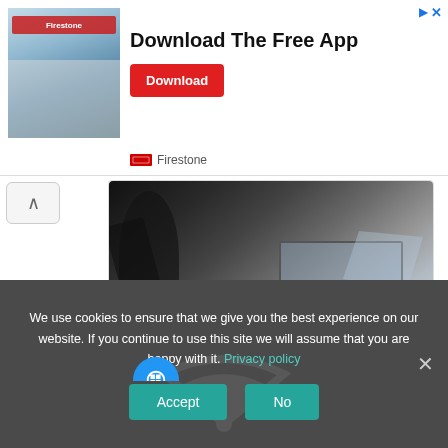[Figure (photo): Firestone store advertisement banner with store photo, 'Download The Free App' text and red Download button]
Download The Free App
Download
Firestone
[Figure (photo): Article card showing person in suit punching through laptop screen with shattering effect, with blue pin/bookmark icon overlay]
WiFi Keeps Disconnecting All The Time? How To Fix It
We use cookies to ensure that we give you the best experience on our website. If you continue to use this site we will assume that you are happy with it. Privacy policy